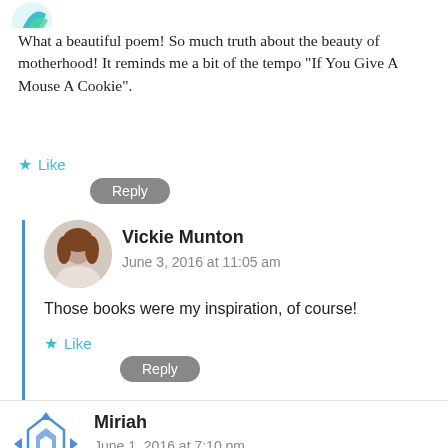[Figure (logo): Teal/green leaf or arrow icon, partially visible at top left]
What a beautiful poem! So much truth about the beauty of motherhood! It reminds me a bit of the tempo “If You Give A Mouse A Cookie”.
★ Like
Reply
[Figure (photo): Round avatar photo of Vickie Munton, a woman with brown hair]
Vickie Munton
June 3, 2016 at 11:05 am
Those books were my inspiration, of course!
★ Like
Reply
[Figure (logo): Miriah geometric diamond/arrow blue logo icon]
Miriah
June 1, 2016 at 7:10 pm
So beautiful!!
★ Like